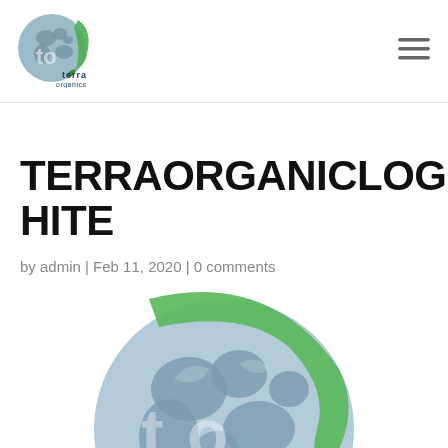[Figure (logo): Terra Organics logo in the top-left header: circular globe icon in blue-grey with green leaf accent, with 'terra' in dark blue bold and 'organics' in smaller text below.]
[Figure (illustration): Three horizontal lines hamburger menu icon in top-right corner.]
TERRAORGANICLOGOWHITE
by admin | Feb 11, 2020 | 0 comments
[Figure (logo): Large Terra Organics logo: a blue-grey globe with world map continents, overlaid with stylized 'to' letters and 'anics' text in white, encircled by a green leaf/arrow swoosh. The logo is cut off at the bottom of the page.]